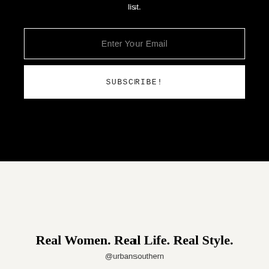list.
Enter Your Email
SUBSCRIBE!
Real Women. Real Life. Real Style.
@urbansouthern